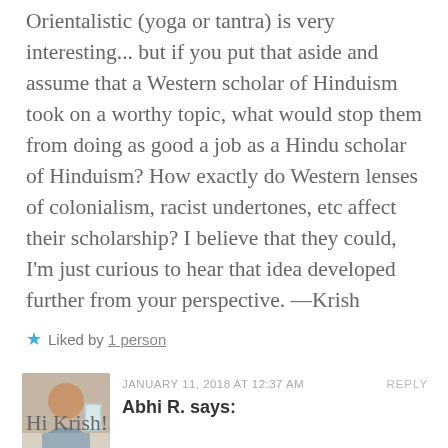Orientalistic (yoga or tantra) is very interesting... but if you put that aside and assume that a Western scholar of Hinduism took on a worthy topic, what would stop them from doing as good a job as a Hindu scholar of Hinduism? How exactly do Western lenses of colonialism, racist undertones, etc affect their scholarship? I believe that they could, I'm just curious to hear that idea developed further from your perspective. —Krish
★ Liked by 1 person
JANUARY 11, 2018 AT 12:37 AM    REPLY
Abhi R. says:
Hi Krish!
Regarding your first point about the exoticization